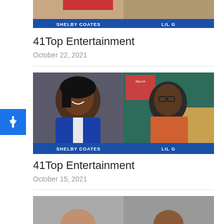[Figure (screenshot): Top partial screenshot showing two people labeled SHELBY COATES and LIL G with a blue lower-third bar]
41Top Entertainment
October 22, 2021
[Figure (screenshot): Screenshot of two people in a split-screen video call: left side shows a woman in a blue outfit labeled SHELBY COATES, right side shows a man in an orange shirt labeled LIL G, with a blue lower-third bar]
41Top Entertainment
October 15, 2021
[Figure (screenshot): Bottom partial screenshot of another episode]